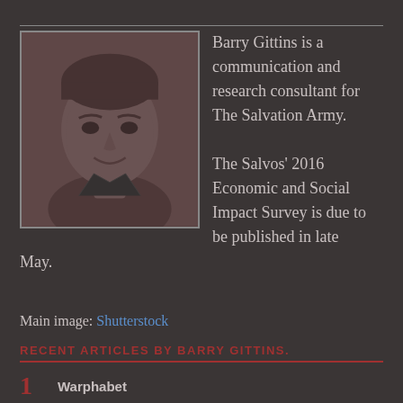[Figure (photo): Headshot photo of Barry Gittins, a man smiling, dark background]
Barry Gittins is a communication and research consultant for The Salvation Army.

The Salvos' 2016 Economic and Social Impact Survey is due to be published in late May.
Main image: Shutterstock
RECENT ARTICLES BY BARRY GITTINS.
1 Warphabet
2 The book corner: Beyond belief